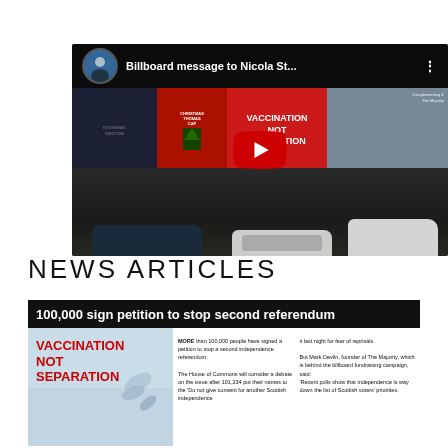[Figure (screenshot): YouTube video thumbnail showing a billboard with 'VACCINATION NOT SEPARATION' text, street scene with cars, title 'Billboard message to Nicola St...']
NEWS ARTICLES
[Figure (screenshot): Newspaper article with headline '100,000 sign petition to stop second referendum' and image of vaccination not separation billboard, with article text in columns]
100,000 sign petition to stop second referendum
MORE than 100,000 people have signed a petition to stop a second independence referendum. The House of Commons will consider a debate on the issue after 101,234 put their names to the 'Do not give consent for another Scottish independence referendum' petition. It last night for fear of reprisals. But Mark Devlin, founder of The Majority, which is behind the billboard fundraising campaign, said: 'Recent polls show that independence is way down the list of Scottish voters' priorities.'